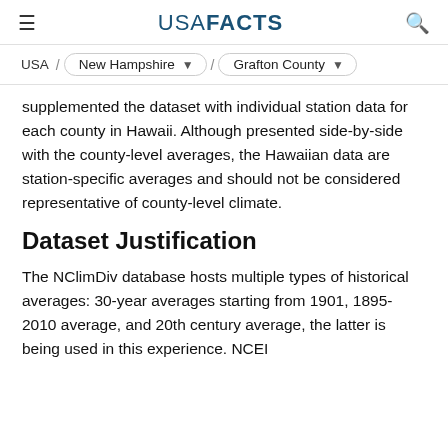USA FACTS
USA / New Hampshire / Grafton County
supplemented the dataset with individual station data for each county in Hawaii. Although presented side-by-side with the county-level averages, the Hawaiian data are station-specific averages and should not be considered representative of county-level climate.
Dataset Justification
The NClimDiv database hosts multiple types of historical averages: 30-year averages starting from 1901, 1895-2010 average, and 20th century average, the latter is being used in this experience. NCEI